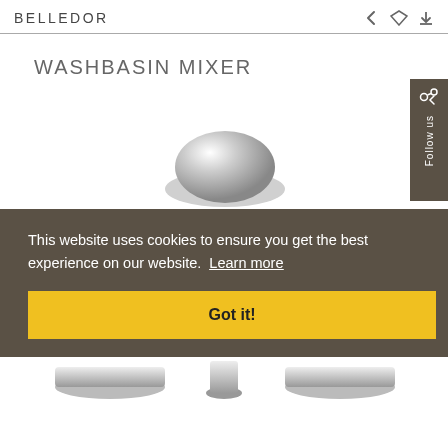BELLEDOR
WASHBASIN MIXER
[Figure (photo): Chrome washbasin mixer faucet product photo, partially visible at bottom of page]
This website uses cookies to ensure you get the best experience on our website.  Learn more
Got it!